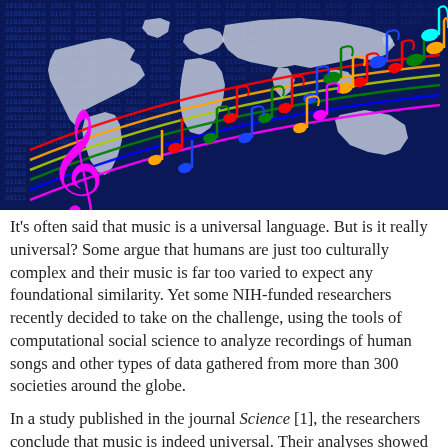[Figure (illustration): A world map with a dark blue binary-code digital background. Overlaid on the map are colorful musical notes (red, green, blue, orange, magenta, cyan) and a treble clef in magenta, with multicolored staff lines (rainbow colors) sweeping across the image from left to right.]
It's often said that music is a universal language. But is it really universal? Some argue that humans are just too culturally complex and their music is far too varied to expect any foundational similarity. Yet some NIH-funded researchers recently decided to take on the challenge, using the tools of computational social science to analyze recordings of human songs and other types of data gathered from more than 300 societies around the globe.
In a study published in the journal Science [1], the researchers conclude that music is indeed universal. Their analyses showed that all of the cultures they studied...